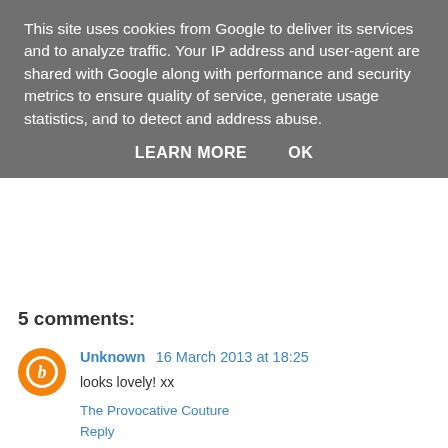This site uses cookies from Google to deliver its services and to analyze traffic. Your IP address and user-agent are shared with Google along with performance and security metrics to ensure quality of service, generate usage statistics, and to detect and address abuse.
LEARN MORE   OK
5 comments:
Unknown 16 March 2013 at 18:25
looks lovely! xx
The Provocative Couture
Reply
skolepigen 21 May 2013 at 18:12
Hi! Can I ask why you (or your boyfriend) chose the eau de parfum instead of the cheaper eau de toilette, if they lasts the same amount of time? I just recently ran out of my